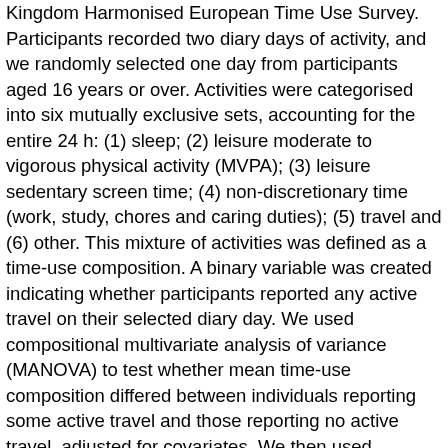Kingdom Harmonised European Time Use Survey. Participants recorded two diary days of activity, and we randomly selected one day from participants aged 16 years or over. Activities were categorised into six mutually exclusive sets, accounting for the entire 24 h: (1) sleep; (2) leisure moderate to vigorous physical activity (MVPA); (3) leisure sedentary screen time; (4) non-discretionary time (work, study, chores and caring duties); (5) travel and (6) other. This mixture of activities was defined as a time-use composition. A binary variable was created indicating whether participants reported any active travel on their selected diary day. We used compositional multivariate analysis of variance (MANOVA) to test whether mean time-use composition differed between individuals reporting some active travel and those reporting no active travel, adjusted for covariates. We then used adjusted linear regression models and bootstrap confidence intervals to identify which of the six activity sets differed between groups. 6143 participants (mean age 48 years; 53% female) provided a valid diary day. There was a statistically significant difference in time-use composition between those reporting some active travel and those reporting no active travel. Those undertaking